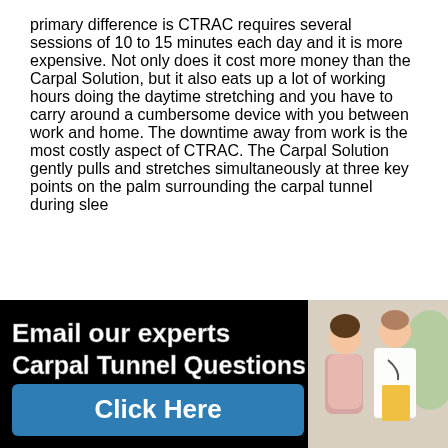primary difference is CTRAC requires several sessions of 10 to 15 minutes each day and it is more expensive. Not only does it cost more money than the Carpal Solution, but it also eats up a lot of working hours doing the daytime stretching and you have to carry around a cumbersome device with you between work and home. The downtime away from work is the most costly aspect of CTRAC. The Carpal Solution gently pulls and stretches simultaneously at three key points on the palm surrounding the carpal tunnel during slee
[Figure (infographic): Black banner advertisement with text 'Email our experts Carpal Tunnel Questions' and a 'Click Here' button in teal/blue, with a photo of a patient and doctor on the right side]